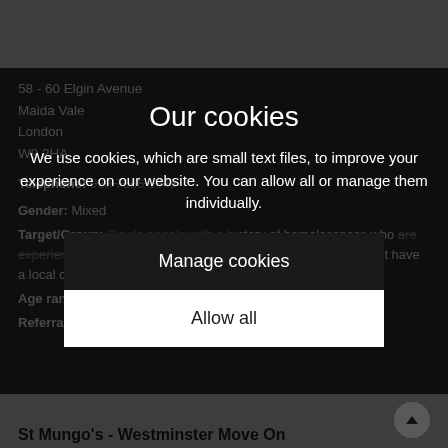58 - 60 Elgin Avenue
Maida Vale
London
W9 2HA
Telephone: 020 7266 1045
Gender: Mixed
Target/Group: Single people with a history of homelessness who are experiencing severe and enduring mental health problems. Must have a local connection to Westminster.
Age range: 18+
Referral procedure: Agency referrals
Our cookies
We use cookies, which are small text files, to improve your experience on our website. You can allow all or manage them individually.
Manage cookies
Allow all
St Mungo's - Westminster Move On